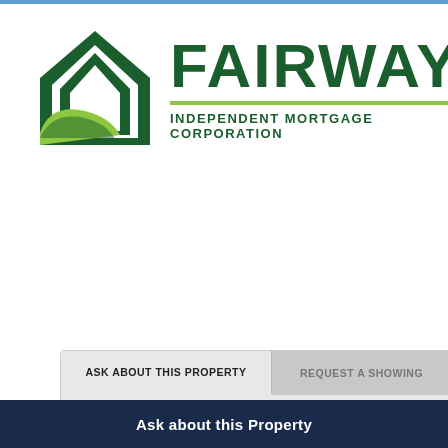[Figure (logo): Fairway Independent Mortgage Corporation logo — green house icon on left, FAIRWAY in large dark green bold text with registered trademark symbol, green underline, INDEPENDENT MORTGAGE CORPORATION in smaller dark green bold caps below]
ASK ABOUT THIS PROPERTY
REQUEST A SHOWING
First Name
Last Name
Ask about this Property